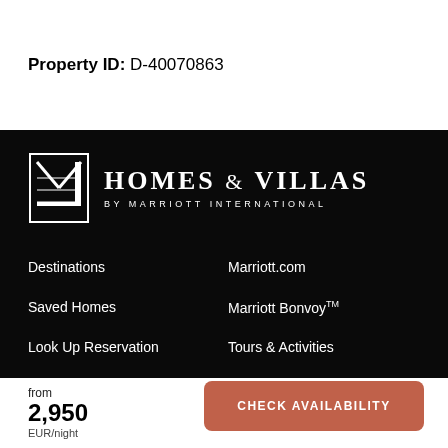Property ID: D-40070863
[Figure (logo): Homes & Villas by Marriott International logo with stylized M icon on black background]
Destinations
Marriott.com
Saved Homes
Marriott Bonvoy™
Look Up Reservation
Tours & Activities
About & FAQs
from 2,950 EUR/night
CHECK AVAILABILITY